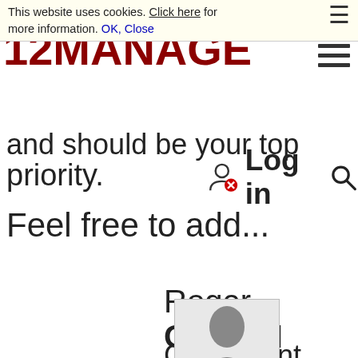This website uses cookies. Click here for more information. OK, Close
[Figure (logo): 12MANAGE logo in dark red bold text with hamburger menu icon]
and should be your top priority.
Log in
Feel free to add...
Roger GILLAN
Consultant.
[Figure (photo): Silhouette avatar of a person in business attire]